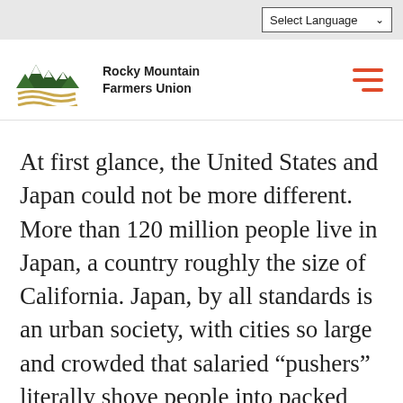Select Language
[Figure (logo): Rocky Mountain Farmers Union logo with mountain and wheat/wave graphic]
At first glance, the United States and Japan could not be more different. More than 120 million people live in Japan, a country roughly the size of California. Japan, by all standards is an urban society, with cities so large and crowded that salaried “pushers” literally shove people into packed subway cars during rush hour.